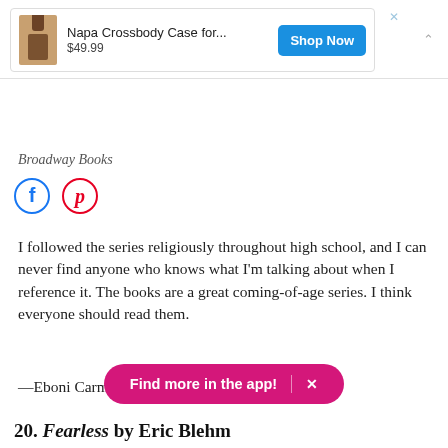[Figure (screenshot): Advertisement banner for Napa Crossbody Case, priced at $49.99, with a Shop Now button]
Broadway Books
[Figure (infographic): Facebook and Pinterest social media icons]
I followed the series religiously throughout high school, and I can never find anyone who knows what I'm talking about when I reference it. The books are a great coming-of-age series. I think everyone should read them.
—Eboni Carman, Facebook
[Figure (screenshot): Find more in the app! button with close X]
20. Fearless by Eric Blehm